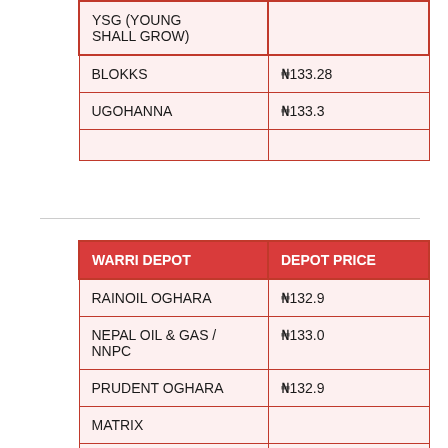| YSG (YOUNG SHALL GROW) |  |
| --- | --- |
| BLOKKS | ₦133.28 |
| UGOHANNA | ₦133.3 |
|  |  |
| WARRI DEPOT | DEPOT PRICE |
| --- | --- |
| RAINOIL OGHARA | ₦132.9 |
| NEPAL OIL & GAS / NNPC | ₦133.0 |
| PRUDENT OGHARA | ₦132.9 |
| MATRIX |  |
|  |  |
|  |  |